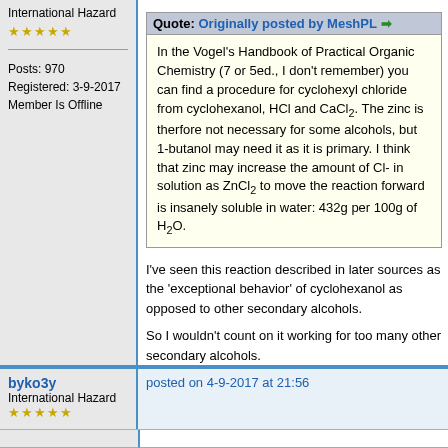International Hazard
★★★★★
Posts: 970
Registered: 3-9-2017
Member Is Offline
Quote: Originally posted by MeshPL
In the Vogel's Handbook of Practical Organic Chemistry (7 or 5ed., I don't remember) you can find a procedure for cyclohexyl chloride from cyclohexanol, HCl and CaCl2. The zinc is therfore not necessary for some alcohols, but 1-butanol may need it as it is primary. I think that zinc may increase the amount of Cl- in solution as ZnCl2 to move the reaction forward is insanely soluble in water: 432g per 100g of H2O.
I've seen this reaction described in later sources as the 'exceptional behavior' of cyclohexanol as opposed to other secondary alcohols.
So I wouldn't count on it working for too many other secondary alcohols.
PROFILE  FIND
byko3y
International Hazard
★★★★★
posted on 4-9-2017 at 21:56